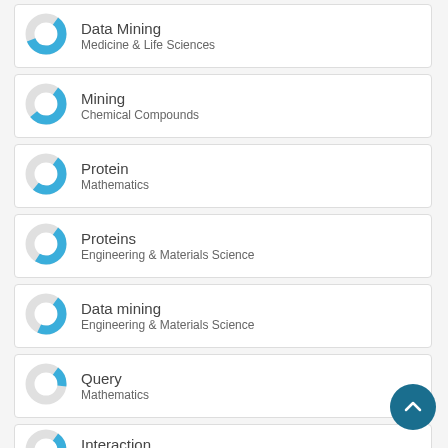Data Mining / Medicine & Life Sciences
Mining / Chemical Compounds
Protein / Mathematics
Proteins / Engineering & Materials Science
Data mining / Engineering & Materials Science
Query / Mathematics
Interaction / Mathematics